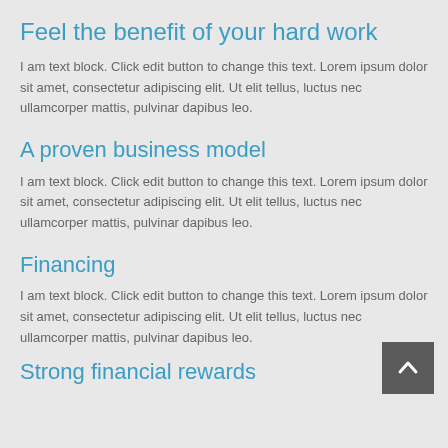Feel the benefit of your hard work
I am text block. Click edit button to change this text. Lorem ipsum dolor sit amet, consectetur adipiscing elit. Ut elit tellus, luctus nec ullamcorper mattis, pulvinar dapibus leo.
A proven business model
I am text block. Click edit button to change this text. Lorem ipsum dolor sit amet, consectetur adipiscing elit. Ut elit tellus, luctus nec ullamcorper mattis, pulvinar dapibus leo.
Financing
I am text block. Click edit button to change this text. Lorem ipsum dolor sit amet, consectetur adipiscing elit. Ut elit tellus, luctus nec ullamcorper mattis, pulvinar dapibus leo.
Strong financial rewards